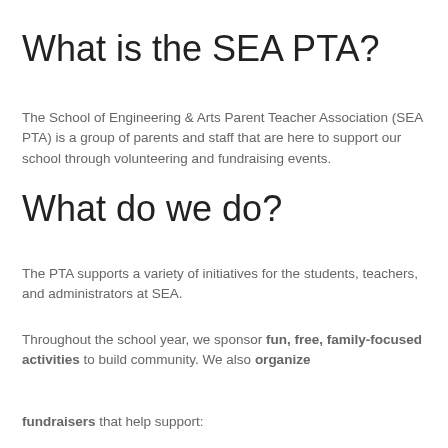What is the SEA PTA?
The School of Engineering & Arts Parent Teacher Association (SEA PTA) is a group of parents and staff that are here to support our school through volunteering and fundraising events.
What do we do?
The PTA supports a variety of initiatives for the students, teachers, and administrators at SEA.
Throughout the school year, we sponsor fun, free, family-focused activities to build community. We also organize
fundraisers that help support: